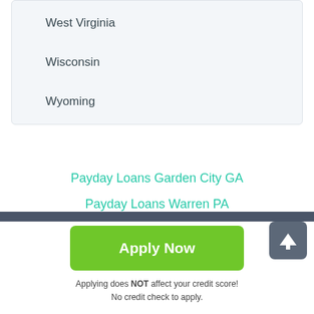West Virginia
Wisconsin
Wyoming
Payday Loans Garden City GA
Payday Loans Warren PA
Apply Now
Applying does NOT affect your credit score!
No credit check to apply.